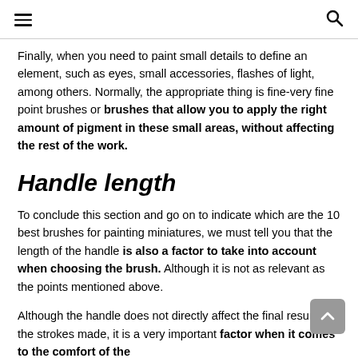Navigation menu and search
Finally, when you need to paint small details to define an element, such as eyes, small accessories, flashes of light, among others. Normally, the appropriate thing is fine-very fine point brushes or brushes that allow you to apply the right amount of pigment in these small areas, without affecting the rest of the work.
Handle length
To conclude this section and go on to indicate which are the 10 best brushes for painting miniatures, we must tell you that the length of the handle is also a factor to take into account when choosing the brush. Although it is not as relevant as the points mentioned above.
Although the handle does not directly affect the final result of the strokes made, it is a very important factor when it comes to the comfort of the